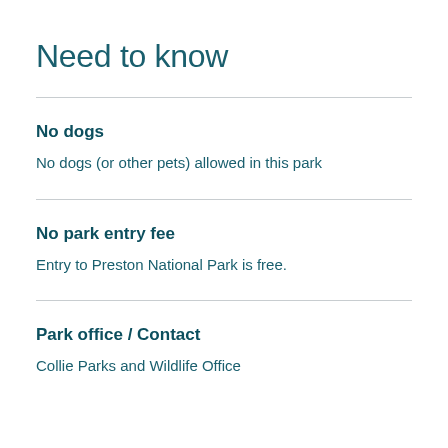Need to know
No dogs
No dogs (or other pets) allowed in this park
No park entry fee
Entry to Preston National Park is free.
Park office / Contact
Collie Parks and Wildlife Office